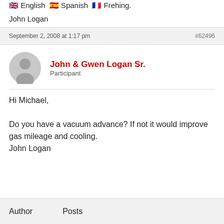Do you have a vacuum advance? If not it would improve gas mileage and cooling.
John Logan
🇬🇧 English 🇪🇸 Spanish 🇫🇷 French.
John Logan
September 2, 2008 at 1:17 pm
#62496
John & Gwen Logan Sr.
Participant
Hi Michael,

Do you have a vacuum advance? If not it would improve gas mileage and cooling.
John Logan
Author	Posts